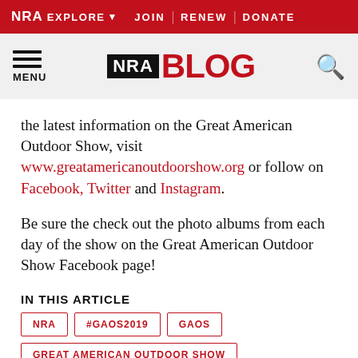NRA EXPLORE  JOIN | RENEW | DONATE
[Figure (logo): NRA BLOG logo with hamburger menu and search icon on light gray header band]
the latest information on the Great American Outdoor Show, visit www.greatamericanoutdoorshow.org or follow on Facebook, Twitter and Instagram.
Be sure the check out the photo albums from each day of the show on the Great American Outdoor Show Facebook page!
IN THIS ARTICLE
NRA
#GAOS2019
GAOS
GREAT AMERICAN OUTDOOR SHOW
OUTDOOR LIFESTYLE